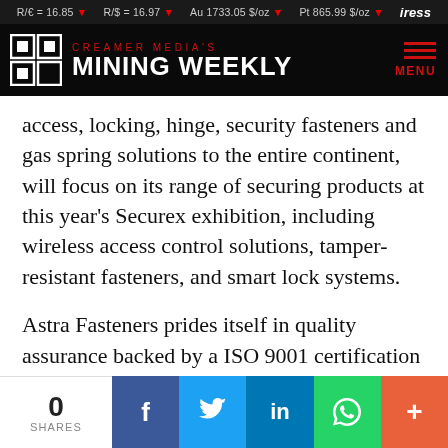R/€ = 16.85 ▼   R/$ = 16.97 ▼   Au 1733.05 $/oz ▼   Pt 865.99 $/oz ▼   iress
[Figure (logo): Creamer Media's Mining Weekly logo with grid icon on black background]
access, locking, hinge, security fasteners and gas spring solutions to the entire continent, will focus on its range of securing products at this year's Securex exhibition, including wireless access control solutions, tamper-resistant fasteners, and smart lock systems.
Astra Fasteners prides itself in quality assurance backed by a ISO 9001 certification and is a level 1 B-BBEE contributor. Visit the company on stand B04 for more information.
0 SHARES  f  t  in  WhatsApp  +